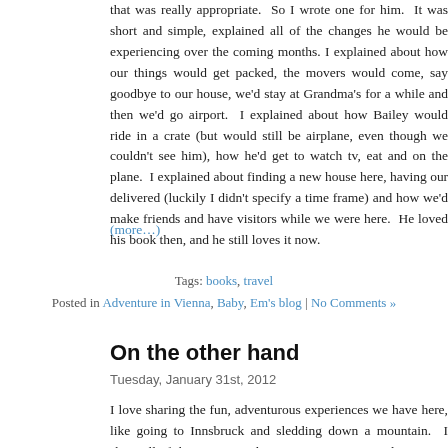that was really appropriate.  So I wrote one for him.  It was short and simple, explained all of the changes he would be experiencing over the coming months. I explained about how our things would get packed, the movers would come, we'd say goodbye to our house, we'd stay at Grandma's for a while and then we'd go to the airport.  I explained about how Bailey would ride in a crate (but would still be on the airplane, even though we couldn't see him), how he'd get to watch tv, eat and sleep on the plane.  I explained about finding a new house here, having our things delivered (luckily I didn't specify a time frame) and how we'd make friends here and have visitors while we were here.  He loved his book then, and he still loves it now.
(more...)
Tags: books, travel
Posted in Adventure in Vienna, Baby, Em's blog | No Comments »
On the other hand
Tuesday, January 31st, 2012
I love sharing the fun, adventurous experiences we have here, like going to Innsbruck and sledding down a mountain.  I share all of this in part to document our experience, and in part to encourage others to do this kind of thing — to travel with your children, to push the envelope of what you think is possible, to explore the world.  But, it isn't all sweetness and light, and I want to share that part, too.  I was so euphoric from our trip to Innsbruck when I wrote about it the other day that I forgot to include the other side of the trip, and I think it's only fair to capture that part, too. Travel with kids is challenging. The accommodations here are not cheap...